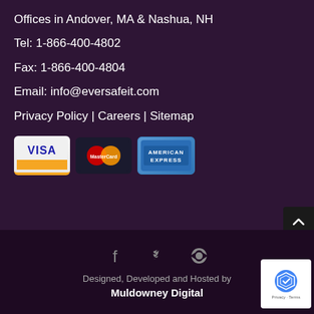Offices in Andover, MA & Nashua, NH
Tel: 1-866-400-4802
Fax: 1-866-400-4804
Email: info@eversafeit.com
Privacy Policy | Careers | Sitemap
[Figure (logo): Visa, MasterCard, and American Express payment icons]
[Figure (infographic): Facebook, Twitter, and RSS social media icons in grey]
Designed, Developed and Hosted by
Muldowney Digital